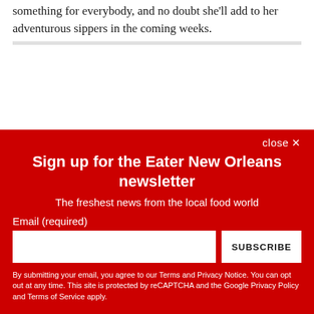something for everybody, and no doubt she'll add to her adventurous sippers in the coming weeks.
Sign up for the Eater New Orleans newsletter
The freshest news from the local food world
Email (required)
By submitting your email, you agree to our Terms and Privacy Notice. You can opt out at any time. This site is protected by reCAPTCHA and the Google Privacy Policy and Terms of Service apply.